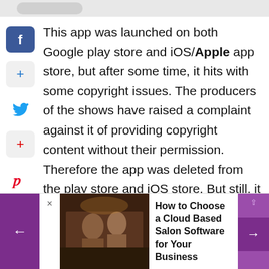[Figure (screenshot): Social media share sidebar icons: Facebook (blue), plus (gray), Twitter (blue bird), plus (gray with red), Pinterest (red P), shown on the left side of the article]
This app was launched on both Google play store and iOS/Apple app store, but after some time, it hits with some copyright issues. The producers of the shows have raised a complaint against it of providing copyright content without their permission. Therefore the app was deleted from the play store and iOS store. But still, it provides its services at full potential, and one can get it from their
[Figure (screenshot): Bottom advertisement/navigation bar showing: left purple arrow button, X close button, a dark photo of people in a barbershop/salon, text 'How to Choose a Cloud Based Salon Software for Your Business', right purple arrow button with scroll-up indicator]